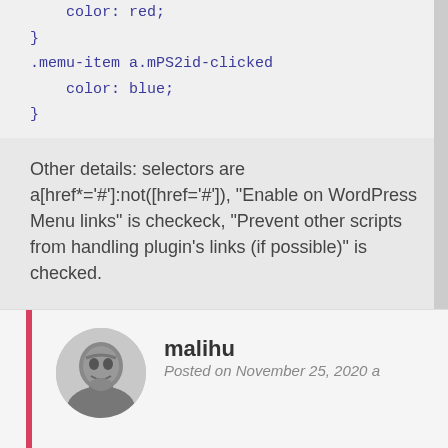color: red;
}
.memu-item a.mPS2id-clicked
    color: blue;
}
Other details: selectors are a[href*='#']:not([href='#']), "Enable on WordPress Menu links" is checkeck, "Prevent other scripts from handling plugin's links (if possible)" is checked.
Would you kindly please help me fix it?
Reply
malihu
Posted on November 25, 2020 a